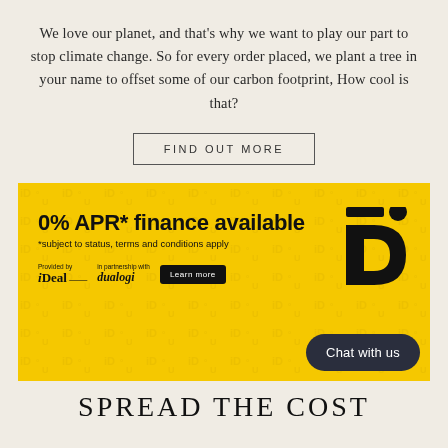We love our planet, and that's why we want to play our part to stop climate change. So for every order placed, we plant a tree in your name to offset some of our carbon footprint, How cool is that?
FIND OUT MORE
[Figure (infographic): Yellow banner advertisement for 0% APR finance. Text reads: '0% APR* finance available', '*subject to status, terms and conditions apply'. Partner logos: 'Provided by iDeal' and 'in partnership with dualogi'. A 'Learn more' button. A stylized 'D' logo (iD) on the right. A dark pill-shaped 'Chat with us' button at bottom right.]
SPREAD THE COST